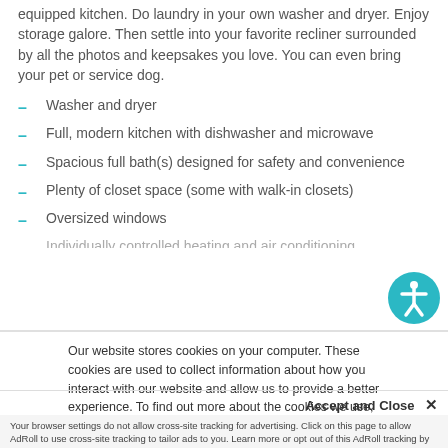equipped kitchen. Do laundry in your own washer and dryer. Enjoy storage galore. Then settle into your favorite recliner surrounded by all the photos and keepsakes you love. You can even bring your pet or service dog.
Washer and dryer
Full, modern kitchen with dishwasher and microwave
Spacious full bath(s) designed for safety and convenience
Plenty of closet space (some with walk-in closets)
Oversized windows
Our website stores cookies on your computer. These cookies are used to collect information about how you interact with our website and allow us to provide a better experience. To find out more about the cookies we use, see our Privacy Policy.
Accept and Close ✕
Your browser settings do not allow cross-site tracking for advertising. Click on this page to allow AdRoll to use cross-site tracking to tailor ads to you. Learn more or opt out of this AdRoll tracking by clicking here. This message only appears once.